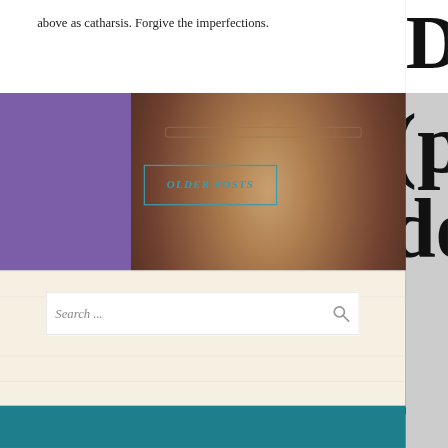above as catharsis. Forgive the imperfections.
[Figure (photo): Partial view of a person wearing glasses and a hoodie, grayscale photo used as website background/sidebar image]
OLDER POSTS
Search ...
[Figure (screenshot): Website screenshot showing blog content with purple sidebar, person photo, older posts navigation button, and search widget on cream/beige background]